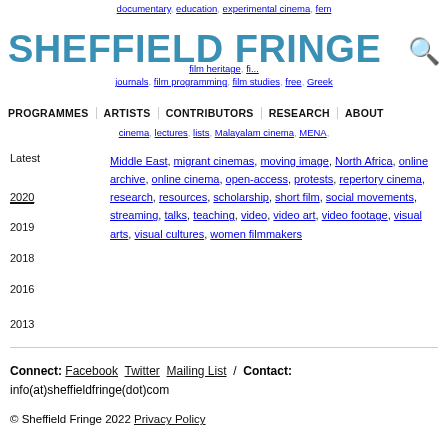SHEFFIELD FRINGE
documentary, education, experimental cinema, fem... film heritage, fi... journals, film programming, film studies, free, Greek
PROGRAMMES | ARTISTS | CONTRIBUTORS | RESEARCH | ABOUT
cinema, lectures, lists, Malayalam cinema, MENA, Middle East, migrant cinemas, moving image, North Africa, online archive, online cinema, open-access, protests, repertory cinema, research, resources, scholarship, short film, social movements, streaming, talks, teaching, video, video art, video footage, visual arts, visual cultures, women filmmakers
Latest
2020
2019
2018
2016
2013
Connect: Facebook Twitter Mailing List / Contact: info(at)sheffieldfringe(dot)com
© Sheffield Fringe 2022 Privacy Policy